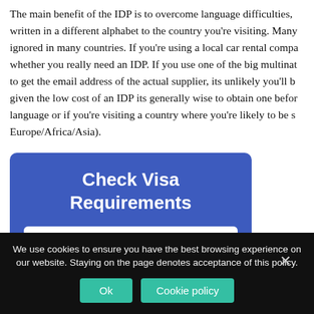The main benefit of the IDP is to overcome language difficulties, written in a different alphabet to the country you're visiting. Many ignored in many countries. If you're using a local car rental compa whether you really need an IDP. If you use one of the big multinat to get the email address of the actual supplier, its unlikely you'll b given the low cost of an IDP its generally wise to obtain one befor language or if you're visiting a country where you're likely to be s Europe/Africa/Asia).
[Figure (screenshot): Check Visa Requirements widget with a 'From: United States (US)' dropdown field on a blue background]
We use cookies to ensure you have the best browsing experience on our website. Staying on the page denotes acceptance of this policy.